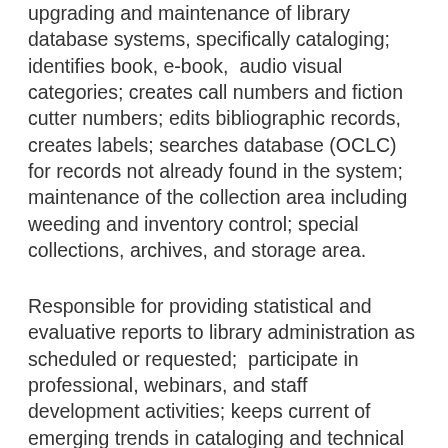upgrading and maintenance of library database systems, specifically cataloging; identifies book, e-book,  audio visual categories; creates call numbers and fiction cutter numbers; edits bibliographic records, creates labels; searches database (OCLC) for records not already found in the system; maintenance of the collection area including weeding and inventory control; special collections, archives, and storage area.
Responsible for providing statistical and evaluative reports to library administration as scheduled or requested;  participate in professional, webinars, and staff development activities; keeps current of emerging trends in cataloging and technical services, including reading professional literature, attending conferences, and subscribing to appropriate